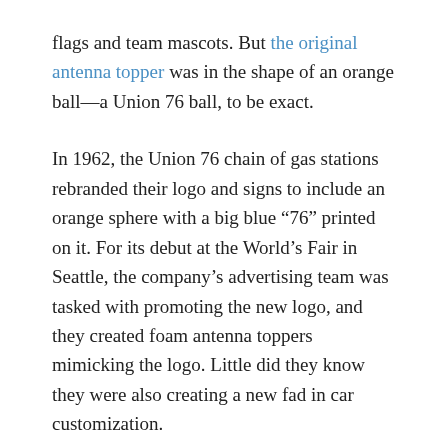flags and team mascots. But the original antenna topper was in the shape of an orange ball—a Union 76 ball, to be exact.
In 1962, the Union 76 chain of gas stations rebranded their logo and signs to include an orange sphere with a big blue “76” printed on it. For its debut at the World’s Fair in Seattle, the company’s advertising team was tasked with promoting the new logo, and they created foam antenna toppers mimicking the logo. Little did they know they were also creating a new fad in car customization.
Antenna toppers grew in popularity well into the 1980s. But as new technology made whip-